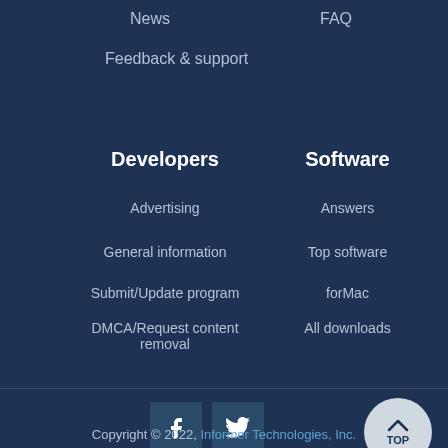News
FAQ
Feedback & support
Developers
Software
Advertising
Answers
General information
Top software
Submit/Update program
forMac
DMCA/Request content removal
All downloads
[Figure (logo): Facebook icon square button]
[Figure (logo): Twitter bird icon square button]
[Figure (illustration): TOP scroll-to-top circular button with chevron up arrow]
Copyright © 2022, Informer Technologies, Inc.